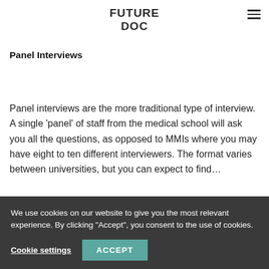[Figure (logo): FUTURE DOC logo in bold dark text, centered at top]
Panel Interviews
Panel interviews are the more traditional type of interview. A single 'panel' of staff from the medical school will ask you all the questions, as opposed to MMIs where you may have eight to ten different interviewers. The format varies between universities, but you can expect to find…
We use cookies on our website to give you the most relevant experience. By clicking "Accept", you consent to the use of cookies.
Cookie settings   ACCEPT